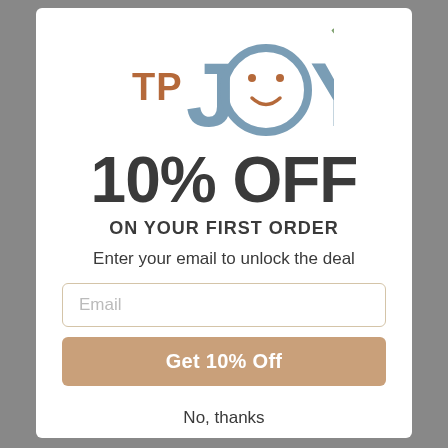[Figure (logo): TP JOY logo with smiley face inside the letter O, in muted blue and terracotta colors]
10% OFF
ON YOUR FIRST ORDER
Enter your email to unlock the deal
Email
Get 10% Off
No, thanks